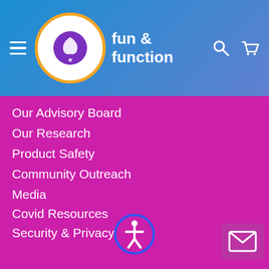[Figure (logo): Fun & Function logo with hand in speech bubble and brand name text]
Our Advisory Board
Our Research
Product Safety
Community Outreach
Media
Covid Resources
Security & Privacy
Terms of Use
Find Local Therapist
Orders
Shipping and Returns
Purchase Orders
Reward Points